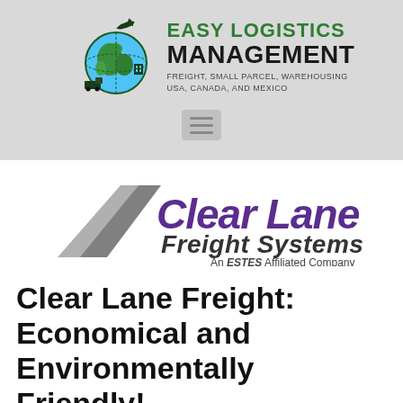[Figure (logo): Easy Logistics Management logo with globe icon surrounded by transportation vehicles, company name in green and black, tagline: FREIGHT, SMALL PARCEL, WAREHOUSING USA, CANADA, AND MEXICO]
[Figure (logo): Clear Lane Freight Systems logo with gray road/lane graphic, purple text, subtitle: An ESTES Affiliated Company]
Clear Lane Freight: Economical and Environmentally Friendly!